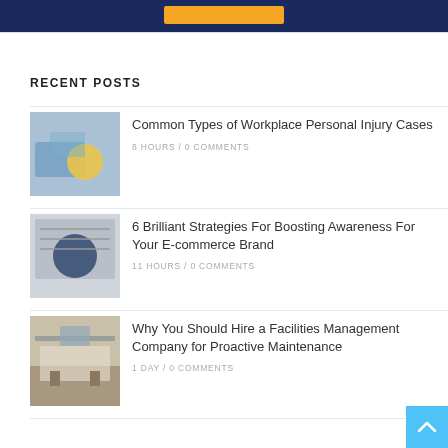RECENT POSTS
Common Types of Workplace Personal Injury Cases
8 HOURS / 0 COMMENTS
6 Brilliant Strategies For Boosting Awareness For Your E-commerce Brand
11 HOURS / 0 COMMENTS
Why You Should Hire a Facilities Management Company for Proactive Maintenance
1 DAY / 0 COMMENTS